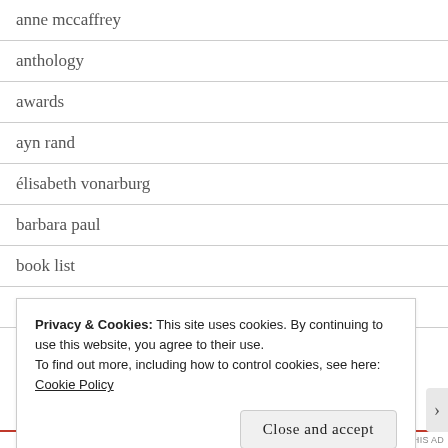anne mccaffrey
anthology
awards
ayn rand
élisabeth vonarburg
barbara paul
book list
book review
brenda pearce
Privacy & Cookies: This site uses cookies. By continuing to use this website, you agree to their use.
To find out more, including how to control cookies, see here:
Cookie Policy
Close and accept